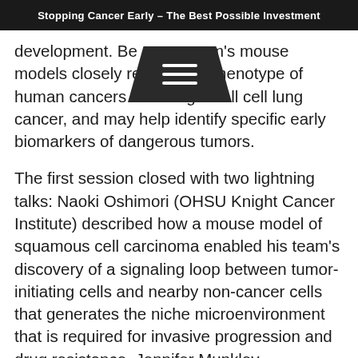Stopping Cancer Early – The Best Possible Investment
development. Be[...]am's mouse models closely rec[...]the phenotype of human cancers including small cell lung cancer, and may help identify specific early biomarkers of dangerous tumors.
The first session closed with two lightning talks: Naoki Oshimori (OHSU Knight Cancer Institute) described how a mouse model of squamous cell carcinoma enabled his team's discovery of a signaling loop between tumor-initiating cells and nearby non-cancer cells that generates the niche microenvironment that is required for invasive progression and drug resistance. Jennifer Munkley (Newcastle University Biosciences Institute) gave an update on the GlycoScore blood test for prostate cancer, which looks for specific glycans (sugars that attach to proteins, lipids, and other glycans on cells). Tested in more than 600 patient